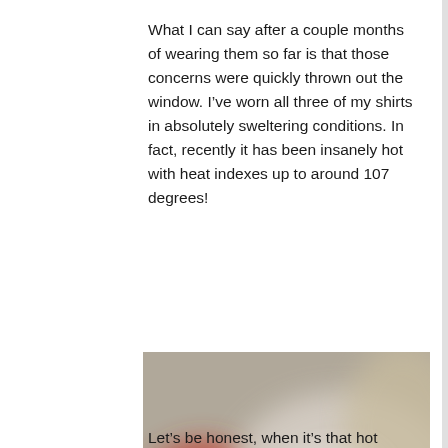What I can say after a couple months of wearing them so far is that those concerns were quickly thrown out the window. I've worn all three of my shirts in absolutely sweltering conditions. In fact, recently it has been insanely hot with heat indexes up to around 107 degrees!
[Figure (photo): A blurred photograph showing what appears to be a person wearing a shirt outdoors, with red/orange and grey/white color tones. A dark scroll-to-top button with an upward chevron arrow is overlaid in the bottom-right corner of the image.]
Let's be honest, when it's that hot you're